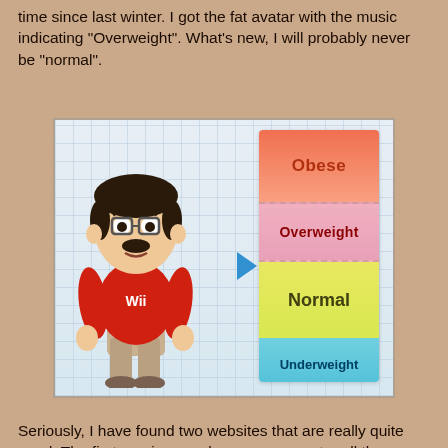time since last winter.  I got the fat avatar with the music indicating "Overweight".  What's new, I will probably never be "normal".
[Figure (screenshot): Wii Fit BMI screen showing a Mii avatar character in a red Wii shirt next to a BMI scale with categories: Obese (orange/red), Overweight (pink, with arrow pointing to it), Normal (yellow), Underweight (blue)]
Seriously, I have found two websites that are really quite good.  The first one is one where you can enter all the ingredients for a recipe and it calculates the calories.  I did it for the Cherry Cheesecake Cupcakes that I posted last Tuesday.